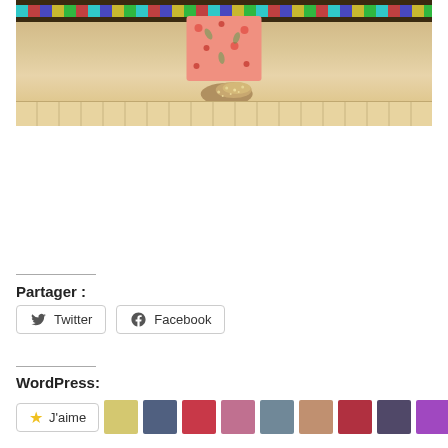[Figure (photo): Bottom portion of a person wearing pink floral pants and gold/silver glitter sneakers, standing on a Moroccan-tiled floor with a decorative tiled border at the top]
Partager :
Twitter
Facebook
WordPress:
J'aime